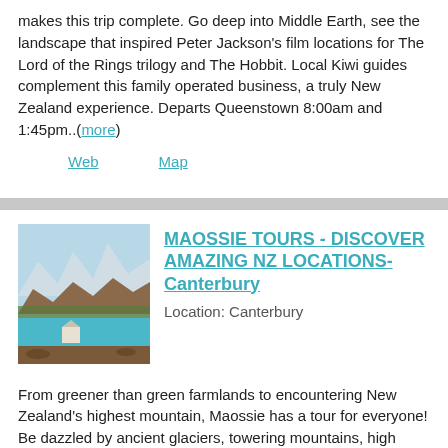makes this trip complete. Go deep into Middle Earth, see the landscape that inspired Peter Jackson's film locations for The Lord of the Rings trilogy and The Hobbit. Local Kiwi guides complement this family operated business, a truly New Zealand experience. Departs Queenstown 8:00am and 1:45pm..(more)
Web   Map
MAOSSIE TOURS - DISCOVER AMAZING NZ LOCATIONS- Canterbury
Location: Canterbury
[Figure (photo): Mountain landscape with snow-capped peaks, a turquoise lake, and a small church or building in the foreground. Autumn-colored trees visible. Appears to be Lake Tekapo, New Zealand.]
From greener than green farmlands to encountering New Zealand's highest mountain, Maossie has a tour for everyone! Be dazzled by ancient glaciers, towering mountains, high country mountain lakes and braided rivers. Or be delighted by sites from "Lord of the Rings" middle-earth before embarking on a scenic ride with a stop at St John's lake...